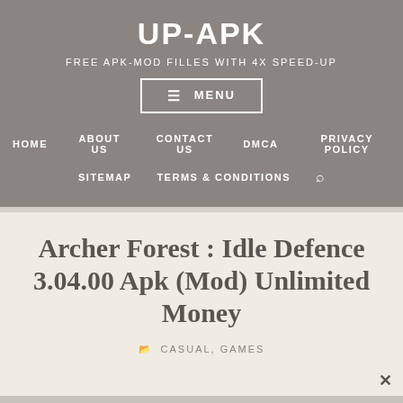UP-APK
FREE APK-MOD FILLES WITH 4X SPEED-UP
MENU
HOME   ABOUT US   CONTACT US   DMCA   PRIVACY POLICY
SITEMAP   TERMS & CONDITIONS
Archer Forest : Idle Defence 3.04.00 Apk (Mod) Unlimited Money
CASUAL, GAMES